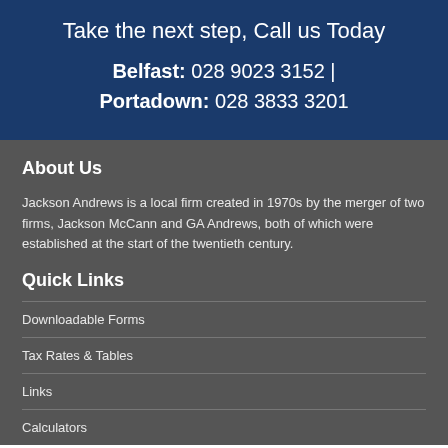Take the next step, Call us Today
Belfast: 028 9023 3152 | Portadown: 028 3833 3201
About Us
Jackson Andrews is a local firm created in 1970s by the merger of two firms, Jackson McCann and GA Andrews, both of which were established at the start of the twentieth century.
Quick Links
Downloadable Forms
Tax Rates & Tables
Links
Calculators